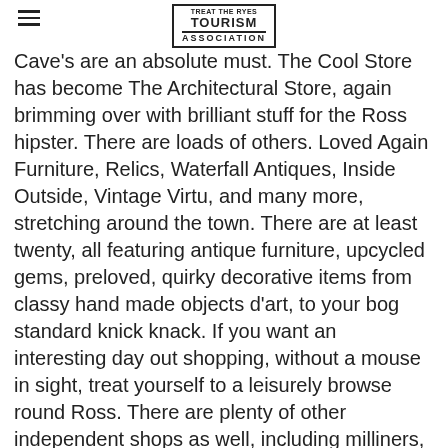TREAT THE RYES TOURISM ASSOCIATION
Cave's are an absolute must. The Cool Store has become The Architectural Store, again brimming over with brilliant stuff for the Ross hipster. There are loads of others. Loved Again Furniture, Relics, Waterfall Antiques, Inside Outside, Vintage Virtu, and many more, stretching around the town. There are at least twenty, all featuring antique furniture, upcycled gems, preloved, quirky decorative items from classy hand made objects d'art, to your bog standard knick knack. If you want an interesting day out shopping, without a mouse in sight, treat yourself to a leisurely browse round Ross. There are plenty of other independent shops as well, including milliners, art supplies, traditional sweets, florists, a music shop, a butchers, bakers, even candlestick makers ( there are two candlestick makers in 'Made In Ross' artists collective housed in the historic Market House in the centre of town, which is also one of five Tourist Information points )....and don't forget a mid morning coffee, a delicious lunch, or